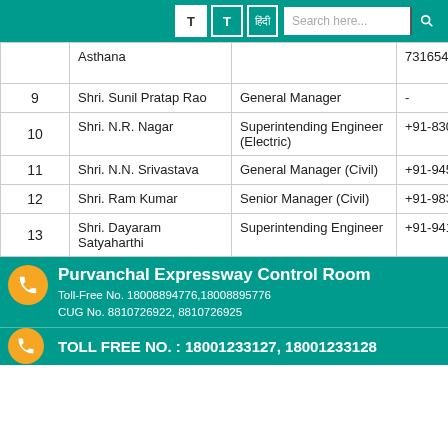T T हिंदी Search here...
| # | Name | Designation | Phone |
| --- | --- | --- | --- |
|  | Asthana |  | 73165462 |
| 9 | Shri. Sunil Pratap Rao | General Manager | - |
| 10 | Shri. N.R. Nagar | Superintending Engineer (Electric) | +91-83039074 |
| 11 | Shri. N.N. Srivastava | General Manager (Civil) | +91-94516563 |
| 12 | Shri. Ram Kumar | Senior Manager (Civil) | +91-98390557 |
| 13 | Shri. Dayaram Satyaharthi | Superintending Engineer | +91-94155723 |
Purvanchal Expressway Control Room
Toll-Free No. 18008894776,18008895776
CUG No. 8810726922, 8810726925
TOLL FREE NO. : 18001233127, 18001233128